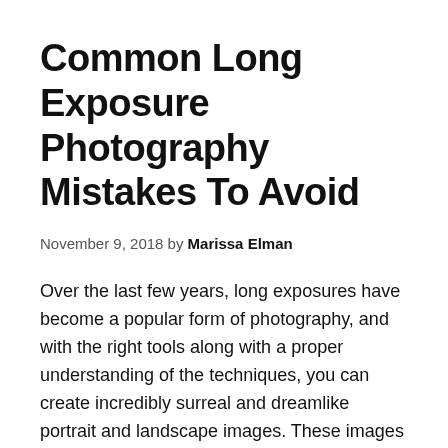Common Long Exposure Photography Mistakes To Avoid
November 9, 2018 by Marissa Elman
Over the last few years, long exposures have become a popular form of photography, and with the right tools along with a proper understanding of the techniques, you can create incredibly surreal and dreamlike portrait and landscape images. These images take time and preparation to capture, and the last thing you want is for something to go wrong that you could have easily avoided. So, with that said, here are some of the most common long exposure photography mistakes and how